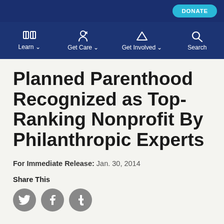DONATE
Learn  Get Care  Get Involved  Search
Planned Parenthood Recognized as Top-Ranking Nonprofit By Philanthropic Experts
For Immediate Release: Jan. 30, 2014
Share This
[Figure (other): Three social media sharing icons: Twitter (bird), Facebook (f), Tumblr (t), each in a grey circle]